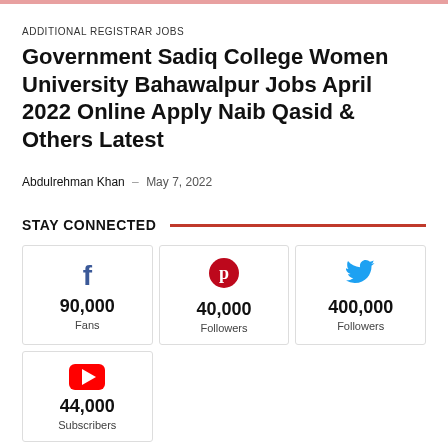ADDITIONAL REGISTRAR JOBS
Government Sadiq College Women University Bahawalpur Jobs April 2022 Online Apply Naib Qasid & Others Latest
Abdulrehman Khan – May 7, 2022
STAY CONNECTED
[Figure (infographic): Social media follower counts: Facebook 90,000 Fans, Pinterest 40,000 Followers, Twitter 400,000 Followers, YouTube 44,000 Subscribers]